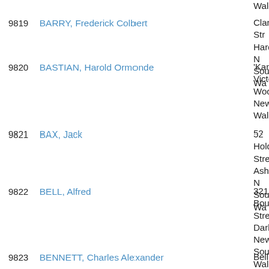Wales
9819  BARRY, Frederick Colbert  —  Clarke Street, Harden, New South Wales
9820  BASTIAN, Harold Ormonde  —  'Kanimblah', Victoria Road, Woollahra, New South Wales
9821  BAX, Jack  —  52 Holden Street, Ashfield, New South Wales
9822  BELL, Alfred  —  321 Bourke Street, Darlinghurst, New South Wales
9823  BENNETT, Charles Alexander  —  Bellinger, Bellinger River, New South Wales